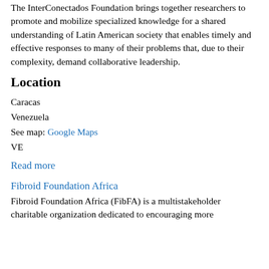The InterConectados Foundation brings together researchers to promote and mobilize specialized knowledge for a shared understanding of Latin American society that enables timely and effective responses to many of their problems that, due to their complexity, demand collaborative leadership.
Location
Caracas
Venezuela
See map: Google Maps
VE
Read more
Fibroid Foundation Africa
Fibroid Foundation Africa (FibFA) is a multistakeholder charitable organization dedicated to encouraging more awareness about treating fibroid and rehabilitation...